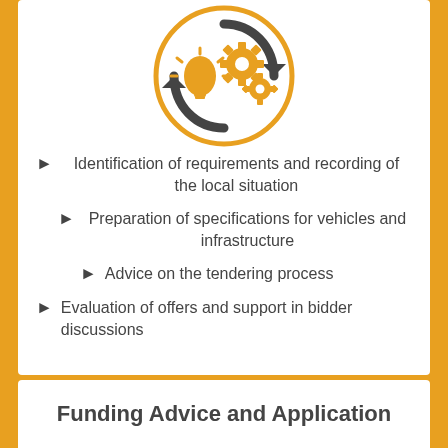[Figure (illustration): Circular icon with a light bulb, gear wheels, and circular arrows in orange/yellow and dark grey, representing innovation and process]
Identification of requirements and recording of the local situation
Preparation of specifications for vehicles and infrastructure
Advice on the tendering process
Evaluation of offers and support in bidder discussions
Funding Advice and Application